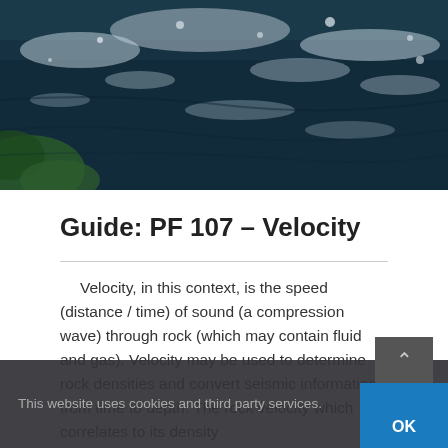[Figure (photo): Aerial or close-up photo of dark ocean/sea water with white foam and waves, and some green vegetation visible at lower-left corner.]
Guide: PF 107 – Velocity
Velocity, in this context, is the speed (distance / time) of sound (a compression wave) through rock (which may contain fluid and gas). Velocity may be used to determine rock densities and convert seismic information from time to depth. The rock velocity which correlates to its density
This website uses cookies and third party services.